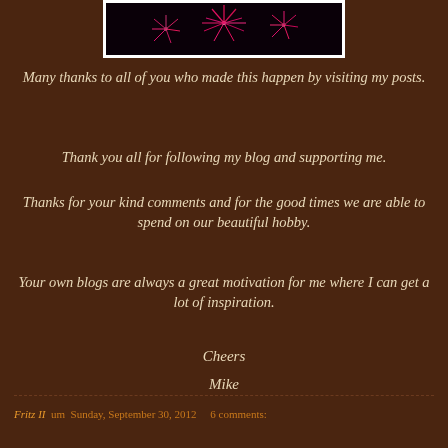[Figure (photo): Fireworks photo with dark background, pink/red bursts, framed with white border]
Many thanks to all of you who made this happen by visiting my posts.
Thank you all for following my blog and supporting me.
Thanks for your kind comments and for the good times we are able to spend on our beautiful hobby.
Your own blogs are always a great motivation for me where I can get a lot of inspiration.
Cheers
Mike
Fritz II   um  Sunday, September 30, 2012     6 comments: